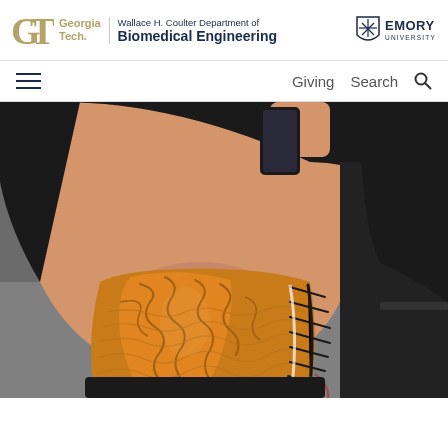Georgia Tech | Wallace H. Coulter Department of Biomedical Engineering | Emory University
[Figure (logo): Georgia Tech GT monogram logo with Georgia Tech wordmark]
[Figure (logo): Emory University shield logo with EMORY UNIVERSITY wordmark]
[Figure (other): Navigation bar with hamburger menu, Giving link, and Search icon]
[Figure (photo): Close-up photo of a person's leg wearing an orange/amber colored prosthetic or orthotic device with decorative swirl patterns, laced on the side with black cord and electronic wires. The person is sitting on a dark chair, wearing black shorts and black socks, and holding a smartphone.]